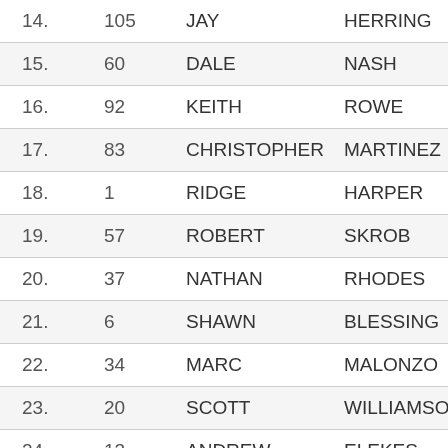| Place | Bib | First Name | Last Name | Time |
| --- | --- | --- | --- | --- |
| 14. | 105 | JAY | HERRING | 9:36 |
| 15. | 60 | DALE | NASH | 9:09 |
| 16. | 92 | KEITH | ROWE | 6:46 |
| 17. | 83 | CHRISTOPHER | MARTINEZ | 8:43 |
| 18. | 1 | RIDGE | HARPER | 8:29 |
| 19. | 57 | ROBERT | SKROB | 7:57 |
| 20. | 37 | NATHAN | RHODES | 8:36 |
| 21. | 6 | SHAWN | BLESSING | 7:44 |
| 22. | 34 | MARC | MALONZO | 7:03 |
| 23. | 20 | SCOTT | WILLIAMSON | 8:10 |
| 24. | 13 | ANDREW | ELEKES | 7:29 |